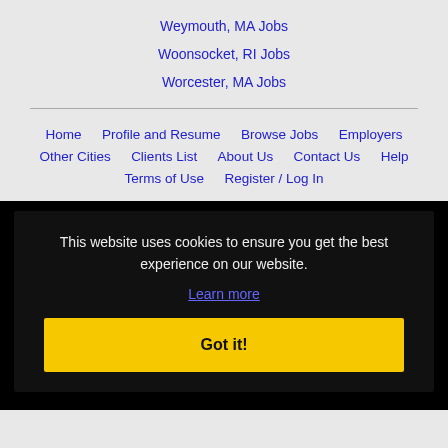Weymouth, MA Jobs
Woonsocket, RI Jobs
Worcester, MA Jobs
Home | Profile and Resume | Browse Jobs | Employers | Other Cities | Clients List | About Us | Contact Us | Help | Terms of Use | Register / Log In
This website uses cookies to ensure you get the best experience on our website. Learn more Got it!